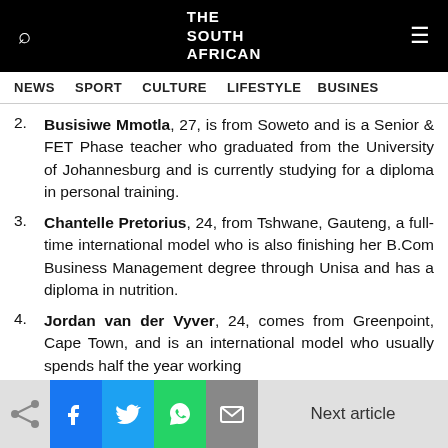THE SOUTH AFRICAN — NEWS | SPORT | CULTURE | LIFESTYLE | BUSINESS
2. Busisiwe Mmotla, 27, is from Soweto and is a Senior & FET Phase teacher who graduated from the University of Johannesburg and is currently studying for a diploma in personal training.
3. Chantelle Pretorius, 24, from Tshwane, Gauteng, a full-time international model who is also finishing her B.Com Business Management degree through Unisa and has a diploma in nutrition.
4. Jordan van der Vyver, 24, comes from Greenpoint, Cape Town, and is an international model who usually spends half the year working
Next article